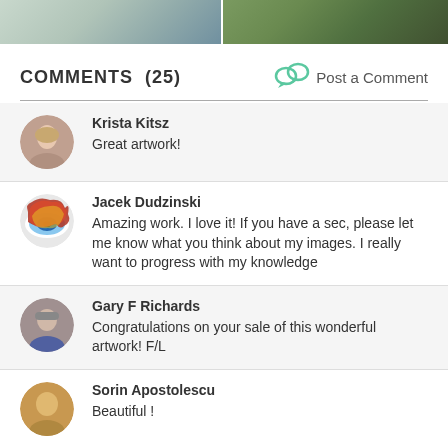[Figure (photo): Two partial artwork images at the top of the page — left shows a landscape with water and sandy/rocky terrain, right shows a road through pine trees and mountains.]
COMMENTS  (25)
Post a Comment
Krista Kitsz
Great artwork!
Jacek Dudzinski
Amazing work. I love it! If you have a sec, please let me know what you think about my images. I really want to progress with my knowledge
Gary F Richards
Congratulations on your sale of this wonderful artwork! F/L
Sorin Apostolescu
Beautiful !